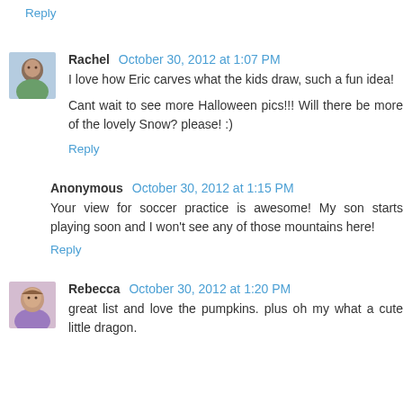Reply
Rachel  October 30, 2012 at 1:07 PM
I love how Eric carves what the kids draw, such a fun idea!

Cant wait to see more Halloween pics!!! Will there be more of the lovely Snow? please! :)
Reply
Anonymous  October 30, 2012 at 1:15 PM
Your view for soccer practice is awesome! My son starts playing soon and I won't see any of those mountains here!
Reply
Rebecca  October 30, 2012 at 1:20 PM
great list and love the pumpkins. plus oh my what a cute little dragon.